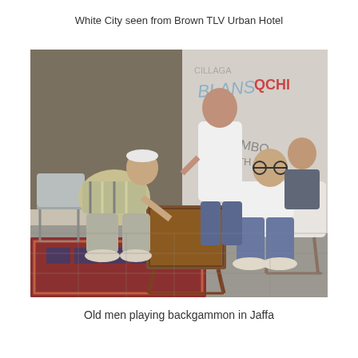White City seen from Brown TLV Urban Hotel
[Figure (photo): Old men playing backgammon on a street in Jaffa. Four elderly men gathered around a backgammon board on a small table. Two men are seated facing each other playing, one stands behind watching, and another sits to the right. Graffiti-covered concrete wall in the background. A patterned carpet is on the ground. Chairs visible on both sides.]
Old men playing backgammon in Jaffa